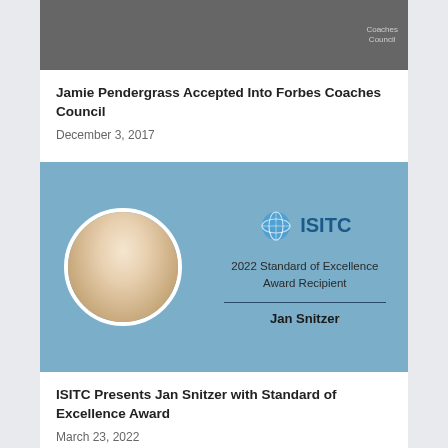[Figure (photo): Partial photo of a person in a suit, appears to be an award ceremony with circular graphic and 'Coaches Council' text visible]
Jamie Pendergrass Accepted Into Forbes Coaches Council
December 3, 2017
[Figure (photo): ISITC 2022 Standard of Excellence Award Recipient image showing Jan Snitzer's portrait in a circle on a blue background with ISITC logo]
ISITC Presents Jan Snitzer with Standard of Excellence Award
March 23, 2022